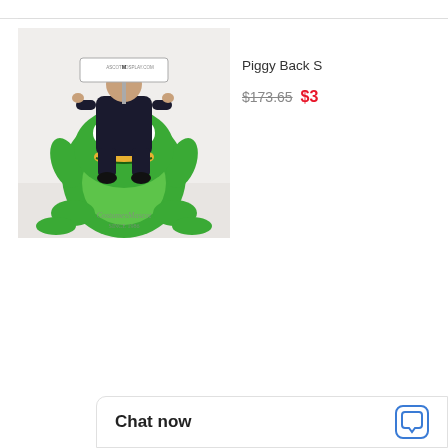[Figure (photo): A person sitting on a large green frog mascot costume (piggyback ride style). The person holds a sign reading MASCOTCOSPLAY.COM. The frog costume has a smiling face with big eyes. A watermark reads CostumesMascot SINCE 1986.]
Piggy Back S
$173.65  $3
Chat now